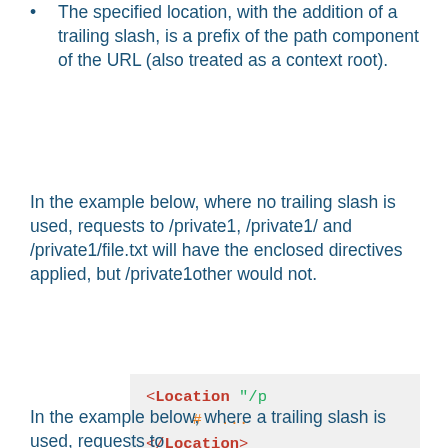The specified location, with the addition of a trailing slash, is a prefix of the path component of the URL (also treated as a context root).
In the example below, where no trailing slash is used, requests to /private1, /private1/ and /private1/file.txt will have the enclosed directives applied, but /private1other would not.
[Figure (screenshot): Code block showing Apache Location directive: <Location "/p... # ... </Location>]
In the example below, where a trailing slash is used, requests to